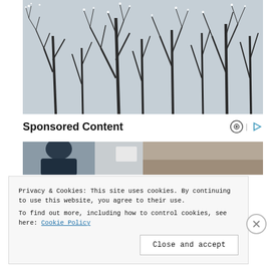[Figure (photo): Winter bare trees with ice or snow on branches against a grey-blue sky, black and white photo]
Sponsored Content
[Figure (photo): Partial view of a person in a dark jacket, vehicle visible in background, outdoor scene]
Privacy & Cookies: This site uses cookies. By continuing to use this website, you agree to their use.
To find out more, including how to control cookies, see here: Cookie Policy
Close and accept